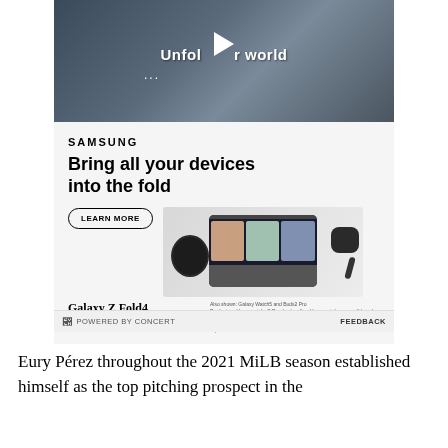[Figure (screenshot): Samsung advertisement video thumbnail showing a man in a denim jacket walking in a store with text 'Unfold your world' and a play button]
[Figure (screenshot): Samsung Galaxy Z Fold4 advertisement with Samsung logo, tagline 'Bring all your devices into the fold', LEARN MORE button, and product images of Galaxy Z Fold4, Galaxy Watch5 and Buds2 Pro]
POWERED BY CONCERT    FEEDBACK
Eury Pérez throughout the 2021 MiLB season established himself as the top pitching prospect in the